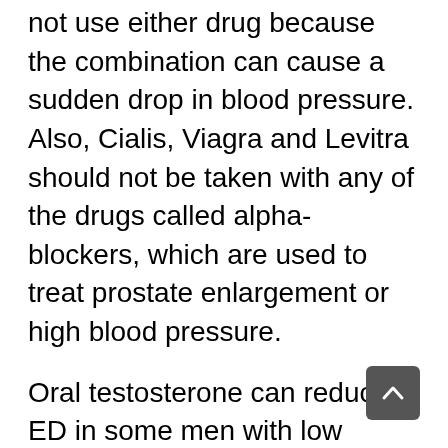not use either drug because the combination can cause a sudden drop in blood pressure. Also, Cialis, Viagra and Levitra should not be taken with any of the drugs called alpha-blockers, which are used to treat prostate enlargement or high blood pressure.
Oral testosterone can reduce ED in some men with low levels of natural testosterone, but it is often ineffective and may cause liver damage. Patients also have claimed that other oral drugs–including yohimbine hydrochloride, dopamine and serotonin